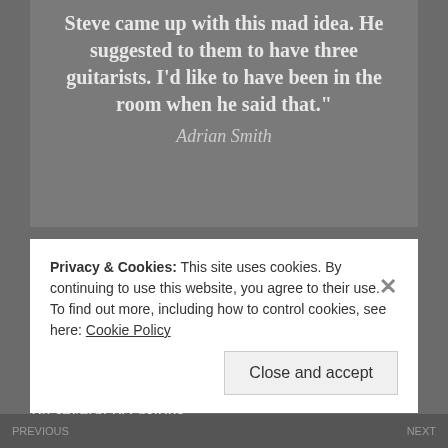Steve came up with this mad idea. He suggested to them to have three guitarists. I'd like to have been in the room when he said that."
Adrian Smith
When Adrian Smith accepted the invitation to rejoin Maiden along with Bruce Dickinson, there came a period of nervous uncertainty for both him and the man who had replaced him in 1990, Janick Gers. In fact, Janick offered to resign from the band on several occasions.
Privacy & Cookies: This site uses cookies. By continuing to use this website, you agree to their use.
To find out more, including how to control cookies, see here: Cookie Policy
Close and accept